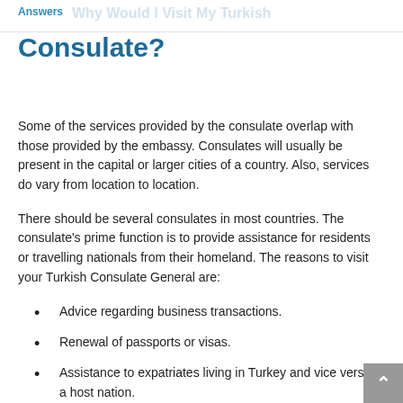Answers  Why Would I Visit My Turkish
Consulate?
Some of the services provided by the consulate overlap with those provided by the embassy. Consulates will usually be present in the capital or larger cities of a country. Also, services do vary from location to location.
There should be several consulates in most countries. The consulate's prime function is to provide assistance for residents or travelling nationals from their homeland. The reasons to visit your Turkish Consulate General are:
Advice regarding business transactions.
Renewal of passports or visas.
Assistance to expatriates living in Turkey and vice versa in a host nation.